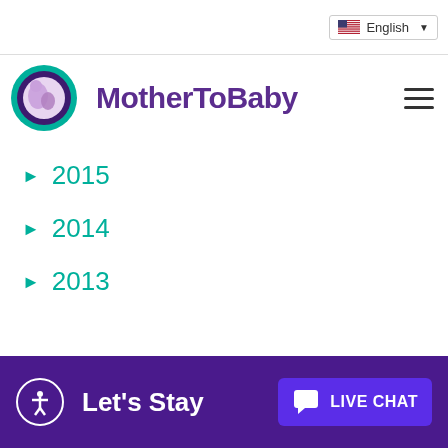English
[Figure (logo): MotherToBaby logo with circular icon showing mother and baby silhouette in purple and teal]
2015
2014
2013
Let's Stay   LIVE CHAT